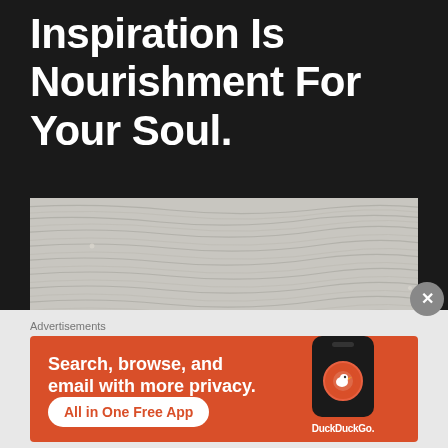Inspiration Is Nourishment For Your Soul.
[Figure (photo): Close-up photograph of rippled sand surface with diagonal wave-like texture patterns, light grey-beige color]
Advertisements
[Figure (screenshot): DuckDuckGo advertisement banner with orange background. Text reads: Search, browse, and email with more privacy. All in One Free App. Shows a phone with DuckDuckGo logo and DuckDuckGo. branding.]